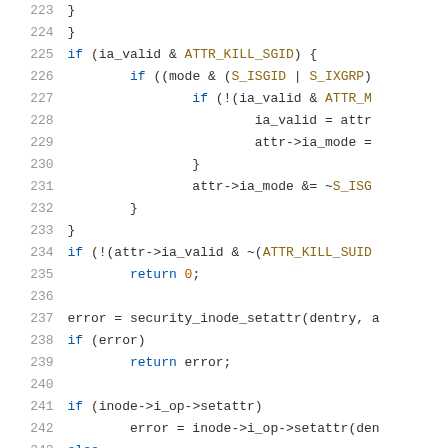[Figure (screenshot): Source code listing showing lines 223-244 of a C source file. The code shows logic for handling inode attribute setting including SGID/SUID killing, security checks, and setattr dispatch. Line numbers are shown in grey on the left, keywords in blue, constants in olive/gold, and regular code in dark grey.]